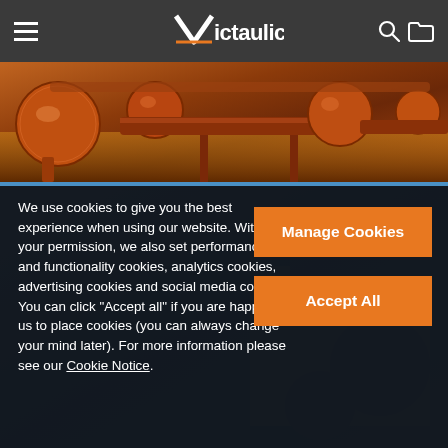Victaulic
[Figure (photo): Industrial pipe and valve equipment in warm orange tones, showing large orange pipes, flanges and mechanical fittings in an industrial facility]
We use cookies to give you the best experience when using our website. With your permission, we also set performance and functionality cookies, analytics cookies, advertising cookies and social media cookies. You can click “Accept all” if you are happy for us to place cookies (you can always change your mind later). For more information please see our Cookie Notice.
Manage Cookies
Accept All